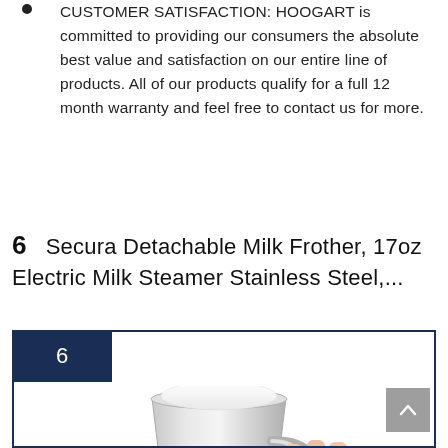CUSTOMER SATISFACTION: HOOGART is committed to providing our consumers the absolute best value and satisfaction on our entire line of products. All of our products qualify for a full 12 month warranty and feel free to contact us for more.
6  Secura Detachable Milk Frother, 17oz Electric Milk Steamer Stainless Steel,...
[Figure (photo): Product listing card numbered 6, showing a stainless steel milk frother/steamer being held by a hand, with white foam visible at the top. The card has a dark navy blue badge with number 6 in the top-left corner and a navy border.]